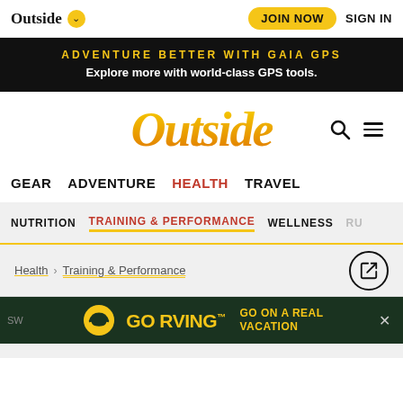Outside | JOIN NOW | SIGN IN
ADVENTURE BETTER WITH GAIA GPS
Explore more with world-class GPS tools.
Outside
GEAR  ADVENTURE  HEALTH  TRAVEL
NUTRITION  TRAINING & PERFORMANCE  WELLNESS  RU...
Health > Training & Performance
GO RVING™  GO ON A REAL VACATION